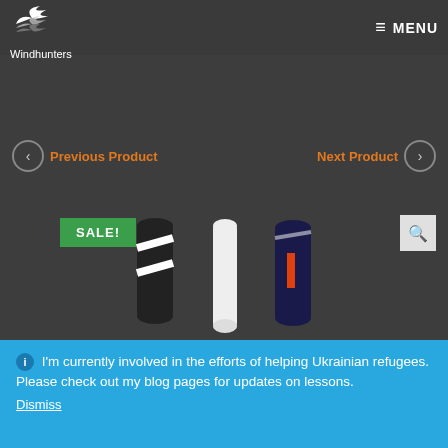Windhunters — MENU
Previous Product
Next Product
SALE!
[Figure (screenshot): Three windsurfing boards displayed vertically, black/white and orange/navy designs on dark background]
I'm currently involved in the efforts of helping Ukrainian refugees. Please check out my blog pages for updates on lessons.
Dismiss